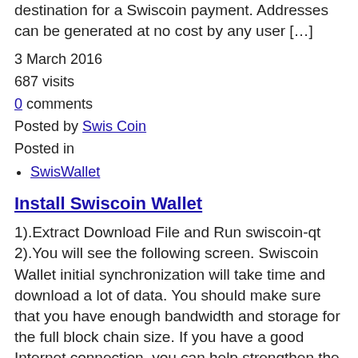destination for a Swiscoin payment. Addresses can be generated at no cost by any user […]
3 March 2016
687 visits
0 comments
Posted by Swis Coin
Posted in
SwisWallet
Install Swiscoin Wallet
1).Extract Download File and Run swiscoin-qt 2).You will see the following screen. Swiscoin Wallet initial synchronization will take time and download a lot of data. You should make sure that you have enough bandwidth and storage for the full block chain size. If you have a good Internet connection, you can help strengthen the network […]